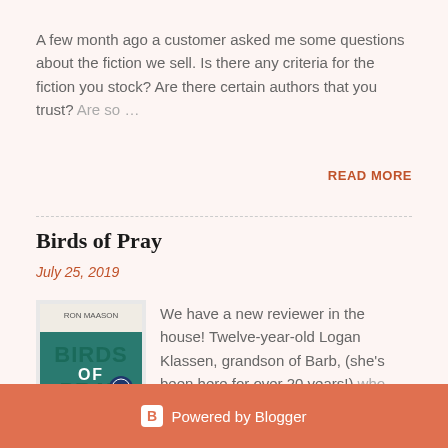A few month ago a customer asked me some questions about the fiction we sell. Is there any criteria for the fiction you stock? Are there certain authors that you trust? Are so…
READ MORE
Birds of Pray
July 25, 2019
[Figure (photo): Book cover for 'Birds of Pray' showing the title in large teal letters on a light background with author name at top]
We have a new reviewer in the house! Twelve-year-old Logan Klassen, grandson of Barb, (she's been here for over 20 years!) who lov…
READ MORE
Powered by Blogger